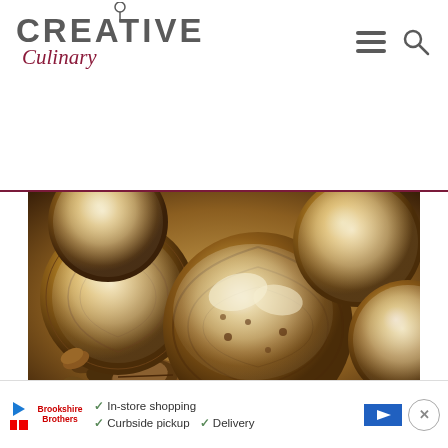Creative Culinary
[Figure (photo): Close-up photo of puff pastry pecan sticky buns with maple bourbon glaze and whole pecans on a baking sheet]
Puff Pastry Pecan Sticky Buns with Maple Bourbon Glaze
[Figure (other): Advertisement bar: In-store shopping, Curbside pickup, Delivery with navigation arrow icon]